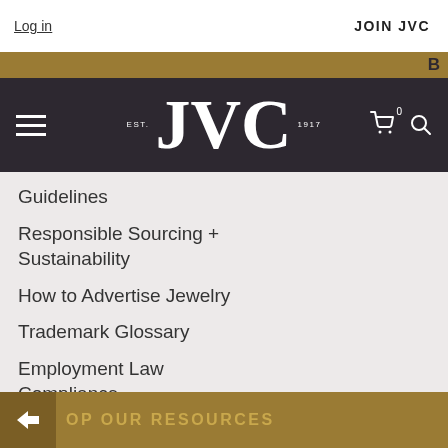Log in | JOIN JVC
[Figure (logo): JVC logo with EST. 1917 text on dark purple/navy navigation bar]
Guidelines
Responsible Sourcing + Sustainability
How to Advertise Jewelry
Trademark Glossary
Employment Law Compliance
Essential Guide Series
COVID-19 Resources
OP OUR RESOURCES